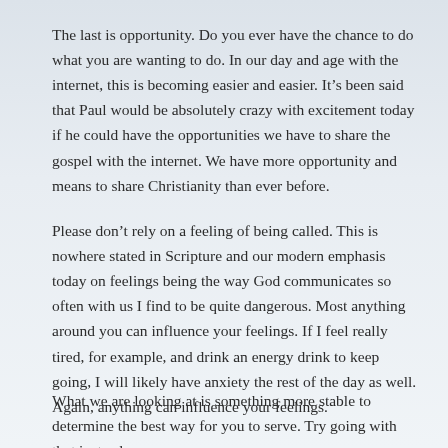The last is opportunity. Do you ever have the chance to do what you are wanting to do. In our day and age with the internet, this is becoming easier and easier. It's been said that Paul would be absolutely crazy with excitement today if he could have the opportunities we have to share the gospel with the internet. We have more opportunity and means to share Christianity than ever before.
Please don't rely on a feeling of being called. This is nowhere stated in Scripture and our modern emphasis today on feelings being the way God communicates so often with us I find to be quite dangerous. Most anything around you can influence your feelings. If I feel really tired, for example, and drink an energy drink to keep going, I will likely have anxiety the rest of the day as well. Again, anything can influence your feelings.
What we are looking at is something more stable to determine the best way for you to serve. Try going with that instead.